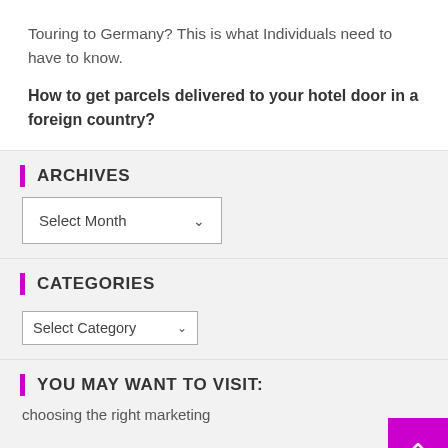Touring to Germany? This is what Individuals need to have to know.
How to get parcels delivered to your hotel door in a foreign country?
ARCHIVES
Select Month
CATEGORIES
Select Category
YOU MAY WANT TO VISIT:
choosing the right marketing